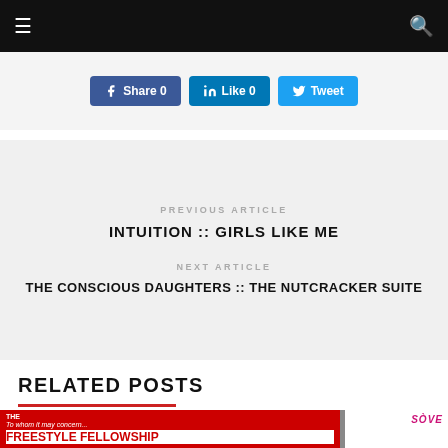Navigation bar with hamburger menu and search icon
Share 0  Like 0  Tweet
PREVIOUS ARTICLE
INTUITION :: GIRLS LIKE ME
NEXT ARTICLE
THE CONSCIOUS DAUGHTERS :: THE NUTCRACKER SUITE
RELATED POSTS
[Figure (photo): Album cover for Freestyle Fellowship - To whom it may concern...]
[Figure (photo): Partial album cover showing text SOVE]